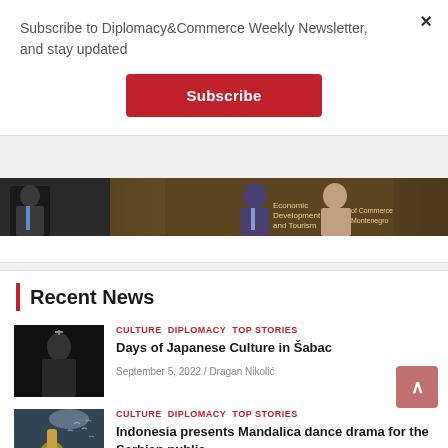Subscribe to Diplomacy&Commerce Weekly Newsletter, and stay updated
Subscribe
[Figure (photo): Banner image strip with people in formal attire, text reading Economic Development and Tourism, Chamber of Commerce of Montenegro]
Recent News
CULTURE  DIPLOMACY  TOP STORIES
Days of Japanese Culture in Šabac
September 5, 2022 / Dragan Nikolić
[Figure (photo): Dark photo of a person holding a cross-like object]
CULTURE  DIPLOMACY  TOP STORIES
Indonesia presents Mandalica dance drama for the Serbian public
[Figure (photo): Photo of a golden saxophone player with birds in background]